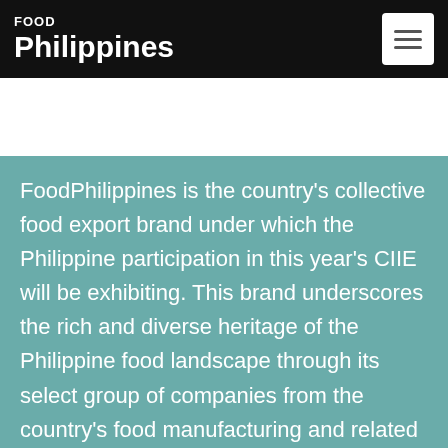FOOD Philippines
FoodPhilippines is the country's collective food export brand under which the Philippine participation in this year's CIIE will be exhibiting. This brand underscores the rich and diverse heritage of the Philippine food landscape through its select group of companies from the country's food manufacturing and related services sector. The delegation will mostly be made up of micro, small and medium enterprises (MSMEs) as part of the